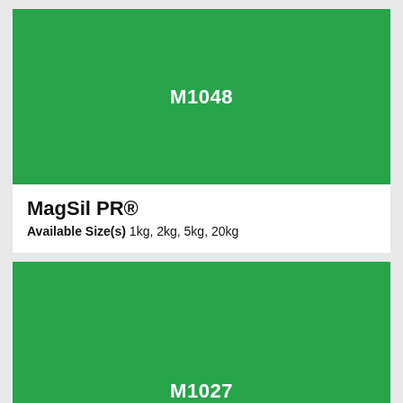[Figure (other): Green product color swatch with product code M1048 centered in white text]
MagSil PR®
Available Size(s) 1kg, 2kg, 5kg, 20kg
[Figure (other): Green product color swatch with product code M1027 partially visible at bottom]